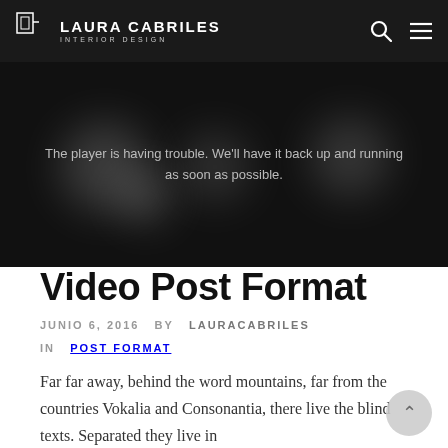LAURA CABRILES INTERIOR DESIGN
[Figure (screenshot): Video player error screen with dark background and blurred bokeh circles. Text reads: The player is having trouble. We'll have it back up and running as soon as possible.]
Video Post Format
JUNIO 6, 2016   BY LAURACABRILES
IN POST FORMAT
Far far away, behind the word mountains, far from the countries Vokalia and Consonantia, there live the blind texts. Separated they live in